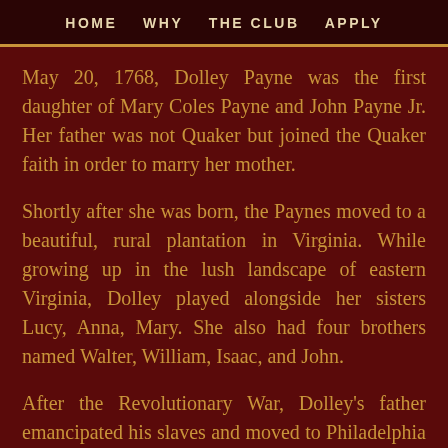HOME   WHY   THE CLUB   APPLY
May 20, 1768, Dolley Payne was the first daughter of Mary Coles Payne and John Payne Jr. Her father was not Quaker but joined the Quaker faith in order to marry her mother.
Shortly after she was born, the Paynes moved to a beautiful, rural plantation in Virginia. While growing up in the lush landscape of eastern Virginia, Dolley played alongside her sisters Lucy, Anna, Mary. She also had four brothers named Walter, William, Isaac, and John.
After the Revolutionary War, Dolley's father emancipated his slaves and moved to Philadelphia to start a business as a merchant. Her father soon